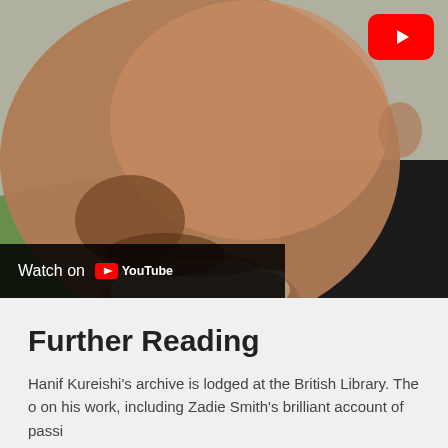[Figure (screenshot): A YouTube video thumbnail showing a close-up of a person laughing outdoors, with a red YouTube play button in the upper right corner, and a 'Watch on YouTube' bar at the bottom left.]
Further Reading
Hanif Kureishi's archive is lodged at the British Library. The o on his work, including Zadie Smith's brilliant account of passi